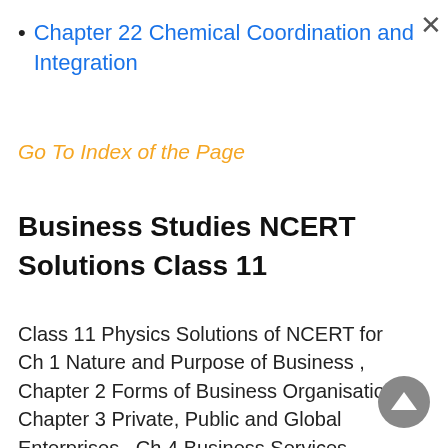Chapter 22 Chemical Coordination and Integration
Go To Index of the Page
Business Studies NCERT Solutions Class 11
Class 11 Physics Solutions of NCERT for Ch 1 Nature and Purpose of Business , Chapter 2 Forms of Business Organisation,  Chapter 3 Private, Public and Global Enterprises , Ch 4 Business Services , Chapter 5 Emerging Modes of